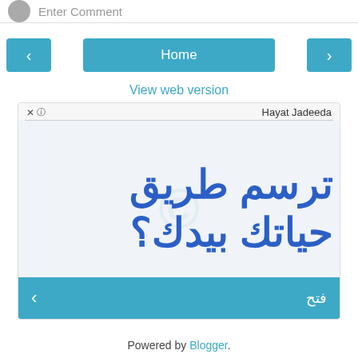Enter Comment
[Figure (screenshot): Navigation bar with left arrow button, Home button (blue), and right arrow button]
View web version
[Figure (screenshot): Ad box showing 'Hayat Jadeeda' header with Arabic text 'ترسم طريق حياتك بيدك؟' in blue on light background, with close button and bottom bar showing 'فتح' and arrow]
Powered by Blogger.